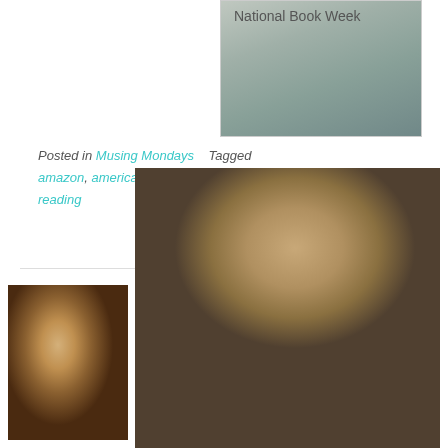[Figure (photo): Painting of a woman reading a book, impressionist style, top right area]
National Book Week
Posted in Musing Mondays   Tagged amazon, american, goodreads, meme, reading
Reading Update: Goodreads
[Figure (photo): Impressionist painting of a woman reading, thumbnail on left side]
Posted on April 9, 2011
[Figure (photo): Large impressionist painting of a woman reading, bottom right portion of page]